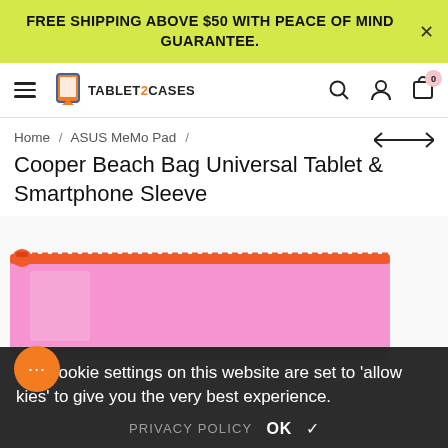FREE SHIPPING ABOVE $50 WITH PEACE OF MIND GUARANTEE.
[Figure (logo): Tablet2Cases logo with orange tablet icon and text TABLET2CASES]
Home / ASUS MeMo Pad /
Cooper Beach Bag Universal Tablet & Smartphone Sleeve
[Figure (photo): Pink translucent beach bag pouch with orange zipper and trim, a Cooper Beach Bag Universal Tablet & Smartphone Sleeve]
The cookie settings on this website are set to 'allow cookies' to give you the very best experience. PRIVACY POLICY OK ✓